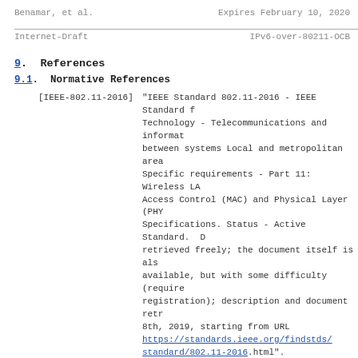Benamar, et al.    Expires February 10, 2020
Internet-Draft    IPv6-over-80211-OCB
9.  References
9.1.  Normative References
[IEEE-802.11-2016]   "IEEE Standard 802.11-2016 - IEEE Standard for Information Technology - Telecommunications and information exchange between systems Local and metropolitan area Specific requirements - Part 11: Wireless LAN Access Control (MAC) and Physical Layer (PHY) Specifications. Status - Active Standard. D retrieved freely; the document itself is also available, but with some difficulty (requires registration); description and document retrieved 8th, 2019, starting from URL https://standards.ieee.org/findstds/standard/802.11-2016.html".
[RFC1042]   Postel, J. and J. Reynolds, "Standard for the transmission of IP datagrams over IEEE 802 networks", STD 43, DOI 10.17487/RFC1042, February 1988, <https://www.rfc-editor.org/info/rfc1042>.